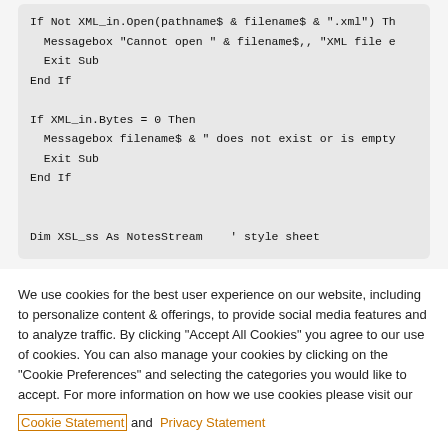If Not XML_in.Open(pathname$ & filename$ & ".xml") Th
    Messagebox "Cannot open " & filename$,, "XML file e
    Exit Sub
End If

If XML_in.Bytes = 0 Then
    Messagebox filename$ & " does not exist or is empty
    Exit Sub
End If


Dim XSL_ss As NotesStream    ' style sheet
We use cookies for the best user experience on our website, including to personalize content & offerings, to provide social media features and to analyze traffic. By clicking "Accept All Cookies" you agree to our use of cookies. You can also manage your cookies by clicking on the "Cookie Preferences" and selecting the categories you would like to accept. For more information on how we use cookies please visit our Cookie Statement and Privacy Statement